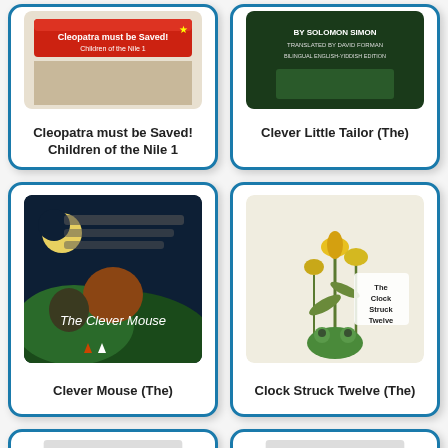[Figure (illustration): Book cover for 'Cleopatra must be Saved! Children of the Nile 1' with red/orange design]
Cleopatra must be Saved! Children of the Nile 1
[Figure (illustration): Book cover for 'Clever Little Tailor (The)' with dark green cover showing 'By Solomon Simon, Translated by David Forman, Bilingual English-Yiddish Edition']
Clever Little Tailor (The)
[Figure (illustration): Book cover for 'Clever Mouse (The)' showing night scene with moon and mountains]
Clever Mouse (The)
[Figure (illustration): Book cover for 'Clock Struck Twelve (The)' showing illustrated botanical and frog scene]
Clock Struck Twelve (The)